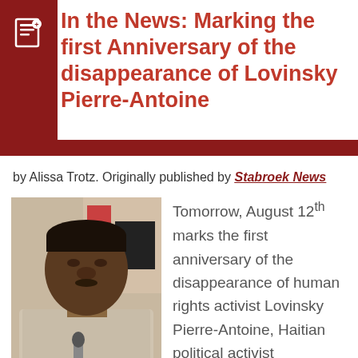In the News: Marking the first Anniversary of the disappearance of Lovinsky Pierre-Antoine
by Alissa Trotz. Originally published by Stabroek News
[Figure (photo): Black and white photograph of Lovinsky Pierre-Antoine, a Haitian political activist, shown from the shoulders up, speaking at a microphone.]
Tomorrow, August 12th marks the first anniversary of the disappearance of human rights activist Lovinsky Pierre-Antoine, Haitian political activist